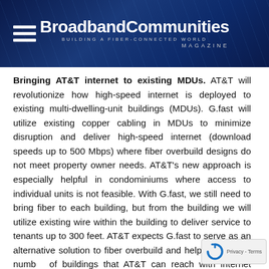BroadbandCommunities MAGAZINE — BUILDING A FIBER-CONNECTED WORLD
Bringing AT&T internet to existing MDUs. AT&T will revolutionize how high-speed internet is deployed to existing multi-dwelling-unit buildings (MDUs). G.fast will utilize existing copper cabling in MDUs to minimize disruption and deliver high-speed internet (download speeds up to 500 Mbps) where fiber overbuild designs do not meet property owner needs. AT&T's new approach is especially helpful in condominiums where access to individual units is not feasible. With G.fast, we still need to bring fiber to each building, but from the building we will utilize existing wire within the building to deliver service to tenants up to 300 feet. AT&T expects G.fast to serve as an alternative solution to fiber overbuild and help expand the number of buildings that AT&T can reach with internet speeds above 100 Mbps. Interested property owners can go to www.att.com/fiberproperties to learn more and see